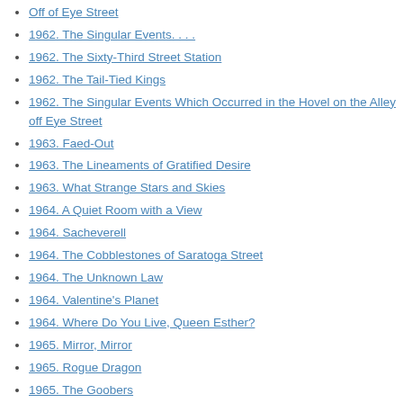Off of Eye Street
1962. The Singular Events. . . .
1962. The Sixty-Third Street Station
1962. The Tail-Tied Kings
1962. The Singular Events Which Occurred in the Hovel on the Alley off Eye Street
1963. Faed-Out
1963. The Lineaments of Gratified Desire
1963. What Strange Stars and Skies
1964. A Quiet Room with a View
1964. Sacheverell
1964. The Cobblestones of Saratoga Street
1964. The Unknown Law
1964. Valentine's Planet
1964. Where Do You Live, Queen Esther?
1965. Mirror, Mirror
1965. Rogue Dragon
1965. The Goobers
1965. The House the Blakeneys Built
1965. The Invasion
1965. The Third Sacred Well of the Temple
1965. Up Christopher to Madness
1966. A Bottle Full of Kismet
1966. Bumberboom